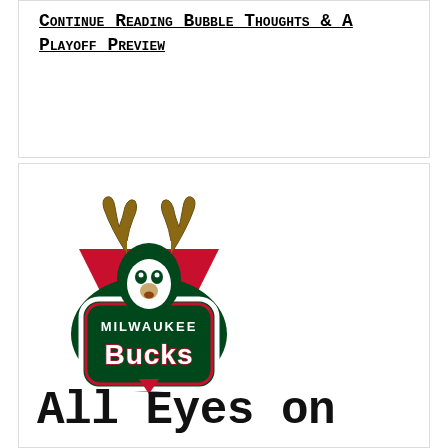Continue Reading Bubble Thoughts & A Playoff Preview
[Figure (logo): Milwaukee Bucks logo — green deer head with antlers over a red chevron, green shield shape with 'MILWAUKEE BUCKS' text in white with red outline]
All Eyes on